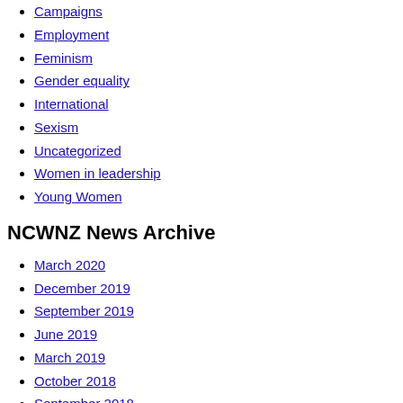Campaigns
Employment
Feminism
Gender equality
International
Sexism
Uncategorized
Women in leadership
Young Women
NCWNZ News Archive
March 2020
December 2019
September 2019
June 2019
March 2019
October 2018
September 2018
August 2018
July 2018
May 2018
April 2018
February 2018
November 2017